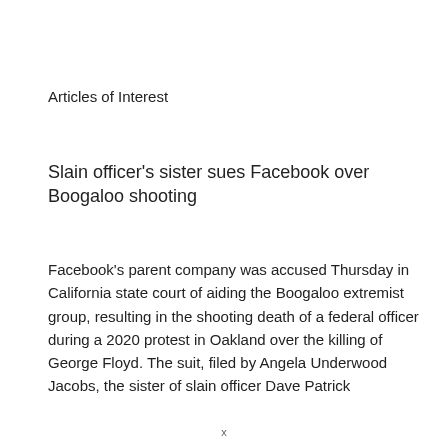Articles of Interest
Slain officer's sister sues Facebook over Boogaloo shooting
Facebook's parent company was accused Thursday in California state court of aiding the Boogaloo extremist group, resulting in the shooting death of a federal officer during a 2020 protest in Oakland over the killing of George Floyd. The suit, filed by Angela Underwood Jacobs, the sister of slain officer Dave Patrick
x